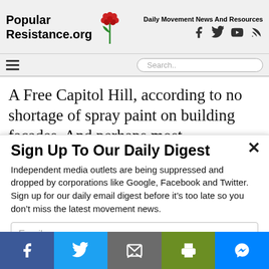Popular Resistance.org — Daily Movement News And Resources
[Figure (logo): Popular Resistance.org logo with red flower/rose graphic]
A Free Capitol Hill, according to no shortage of spray paint on building facades. And perhaps most
Sign Up To Our Daily Digest
Independent media outlets are being suppressed and dropped by corporations like Google, Facebook and Twitter. Sign up for our daily email digest before it’s too late so you don’t miss the latest movement news.
Email
Facebook | Twitter | Email | Print | Messenger